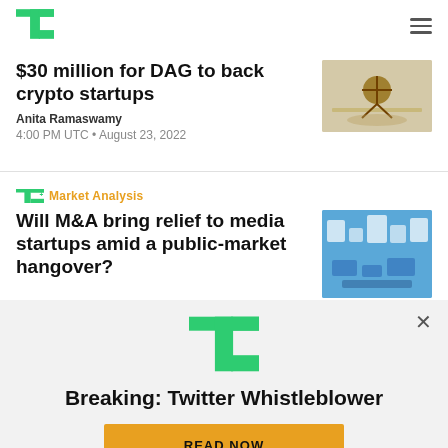TechCrunch logo and navigation
$30 million for DAG to back crypto startups
Anita Ramaswamy
4:00 PM UTC • August 23, 2022
TC+ Market Analysis
Will M&A bring relief to media startups amid a public-market hangover?
[Figure (screenshot): TechCrunch notification overlay showing 'Breaking: Twitter Whistleblower' with a READ NOW button]